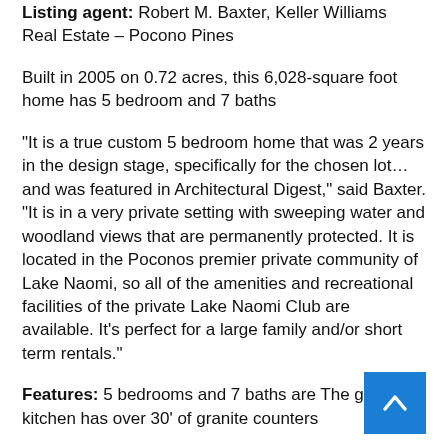Listing agent: Robert M. Baxter, Keller Williams Real Estate – Pocono Pines
Built in 2005 on 0.72 acres, this 6,028-square foot home has 5 bedroom and 7 baths
“It is a true custom 5 bedroom home that was 2 years in the design stage, specifically for the chosen lot… and was featured in Architectural Digest,” said Baxter. “It is in a very private setting with sweeping water and woodland views that are permanently protected. It is located in the Poconos premier private community of Lake Naomi, so all of the amenities and recreational facilities of the private Lake Naomi Club are available. It’s perfect for a large family and/or short term rentals.”
Features: 5 bedrooms and 7 baths are The gourmet kitchen has over 30’ of granite counters